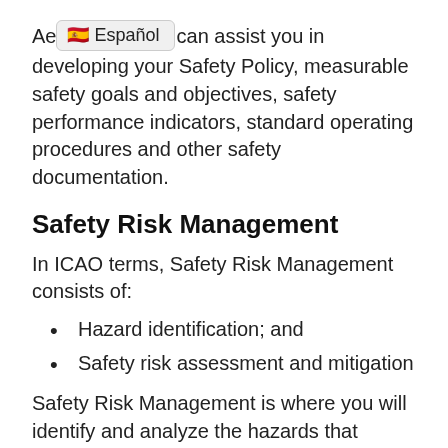Ae [Español tooltip] can assist you in developing your Safety Policy, measurable safety goals and objectives, safety performance indicators, standard operating procedures and other safety documentation.
Safety Risk Management
In ICAO terms, Safety Risk Management consists of:
Hazard identification; and
Safety risk assessment and mitigation
Safety Risk Management is where you will identify and analyze the hazards that